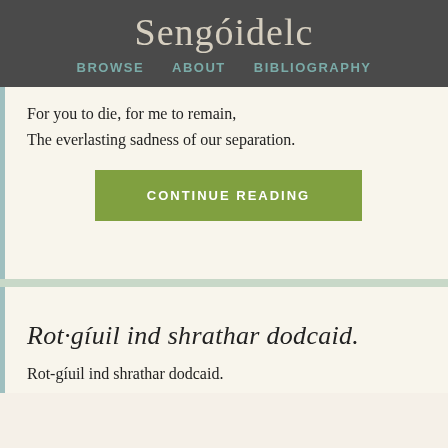Sengóidelc
BROWSE   ABOUT   BIBLIOGRAPHY
For you to die, for me to remain,
The everlasting sadness of our separation.
CONTINUE READING
Rot·gíuil ind shrathar dodcaid.
Rot-gíuil ind shrathar dodcaid.